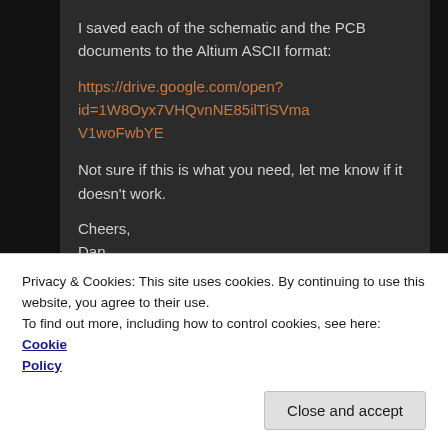I saved each of the schematic and the PCB documents to the Altium ASCII format:
https://drive.google.com/open?id=1W8Oyx7VHQvnNE85ilTiSVmaV1woFwbYE
Not sure if this is what you need, let me know if it doesn't work.
Cheers,
Dan
★ Like
Privacy & Cookies: This site uses cookies. By continuing to use this website, you agree to their use.
To find out more, including how to control cookies, see here: Cookie Policy